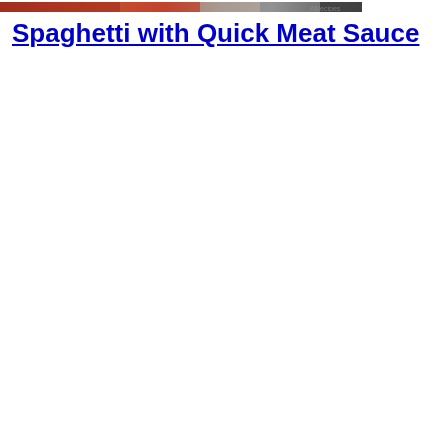[Figure (photo): Partial view of a spaghetti with meat sauce dish photo, cropped at top of page]
Spaghetti with Quick Meat Sauce